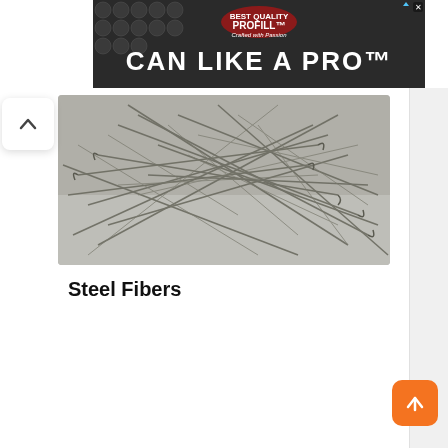[Figure (photo): Advertisement banner for PROFILL 'CAN LIKE A PRO' product with metal can caps background]
[Figure (photo): Photograph of steel fibers — a pile of hooked-end metallic steel fiber strands scattered on a light surface]
Steel Fibers